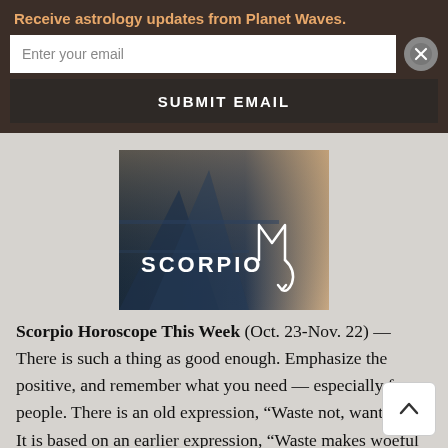Receive astrology updates from Planet Waves.
Enter your email
SUBMIT EMAIL
[Figure (illustration): Scorpio horoscope banner image with dark blue background, architectural shapes, and white handwritten Scorpio zodiac symbol. Text reads SCORPIO with stylized scorpion glyph.]
Scorpio Horoscope This Week (Oct. 23-Nov. 22) — There is such a thing as good enough. Emphasize the positive, and remember what you need — especially from people. There is an old expression, “Waste not, want not.” It is based on an earlier expression, “Waste makes woeful want.” Consider everything precious right now, including desire. Imagine that desire is something